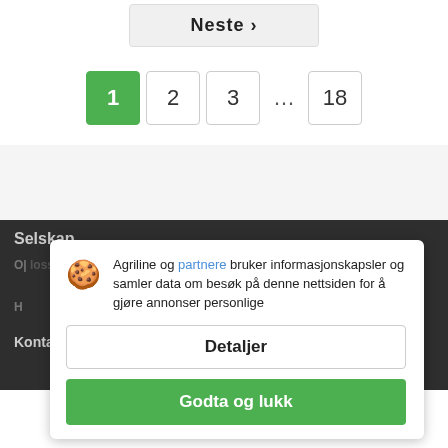[Figure (screenshot): Pagination control showing Neste button and page numbers 1 (active, green), 2, 3, ..., 18]
Selskap
Agriline og partnere bruker informasjonskapsler og samler data om besøk på denne nettsiden for å gjøre annonser personlige
Detaljer
Godta og lukk
Kontakter